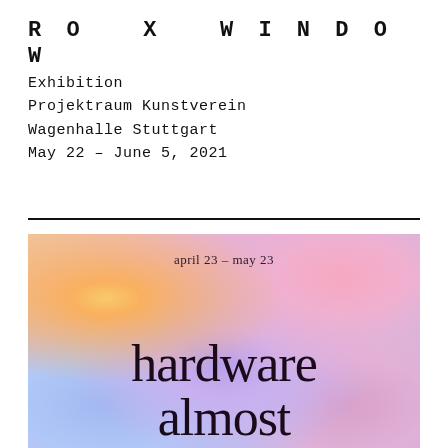RO X WINDOW
Exhibition
Projektraum Kunstverein
Wagenhalle Stuttgart
May 22 – June 5, 2021
[Figure (illustration): Gradient poster image with pastel purple, pink, yellow, and blue hues. Text reads 'april 23 – may 23' at the top and 'hardware almost' in large serif font.]